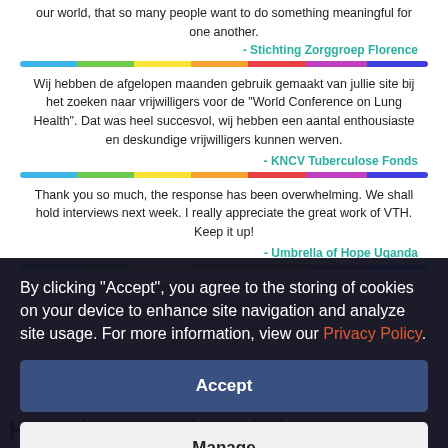our world, that so many people want to do something meaningful for one another.
- Stichting Zorggroep Florence
Wij hebben de afgelopen maanden gebruik gemaakt van jullie site bij het zoeken naar vrijwilligers voor de "World Conference on Lung Health". Dat was heel succesvol, wij hebben een aantal enthousiaste en deskundige vrijwilligers kunnen werven.
- KNCV Tuberculose Fonds
Thank you so much, the response has been overwhelming. We shall hold interviews next week. I really appreciate the great work of VTH. Keep it up!
- Umbrella of Hope Uganda
Good to be here. Saw lots of different organizations and met enthusiastic volunteers. Very international. Opens the mind and gives opportunities.
By clicking "Accept", you agree to the storing of cookies on your device to enhance site navigation and analyze site usage. For more information, view our Privacy Policy.
Accept
Manage
How international docu...